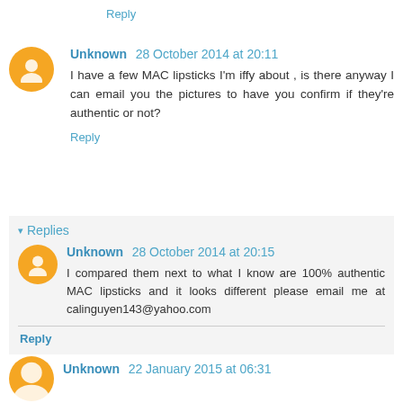Reply
Unknown 28 October 2014 at 20:11
I have a few MAC lipsticks I'm iffy about , is there anyway I can email you the pictures to have you confirm if they're authentic or not?
Reply
▾ Replies
Unknown 28 October 2014 at 20:15
I compared them next to what I know are 100% authentic MAC lipsticks and it looks different please email me at calinguyen143@yahoo.com
Reply
Unknown 22 January 2015 at 06:31